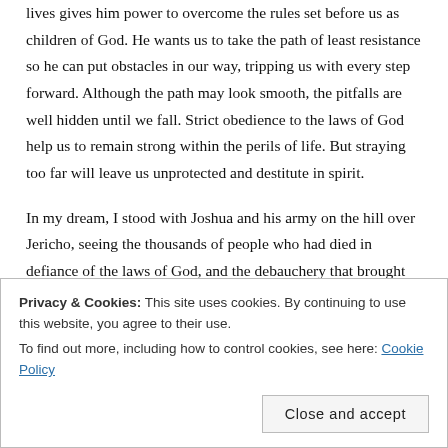lives gives him power to overcome the rules set before us as children of God. He wants us to take the path of least resistance so he can put obstacles in our way, tripping us with every step forward. Although the path may look smooth, the pitfalls are well hidden until we fall. Strict obedience to the laws of God help us to remain strong within the perils of life. But straying too far will leave us unprotected and destitute in spirit.
In my dream, I stood with Joshua and his army on the hill over Jericho, seeing the thousands of people who had died in defiance of the laws of God, and the debauchery that brought about the downfall of the wall. That wall represents the Lord's protection from the things
Privacy & Cookies: This site uses cookies. By continuing to use this website, you agree to their use.
To find out more, including how to control cookies, see here: Cookie Policy